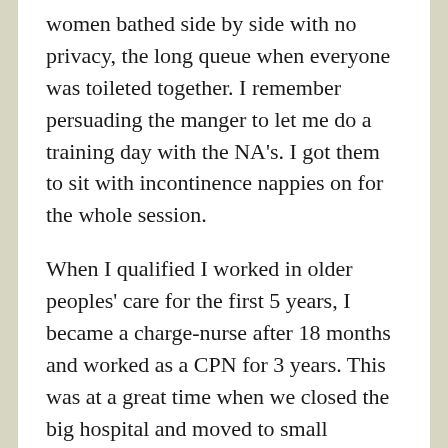women bathed side by side with no privacy, the long queue when everyone was toileted together. I remember persuading the manger to let me do a training day with the NA's. I got them to sit with incontinence nappies on for the whole session.
When I qualified I worked in older peoples' care for the first 5 years, I became a charge-nurse after 18 months and worked as a CPN for 3 years. This was at a great time when we closed the big hospital and moved to small community unit. As a CPN I loved working with families. There was also a nurse in Yorkshire who was becoming well known for his work with older people called 'Star Wards'. He inspired me. He argued that nursing wasn't just scientific but involved